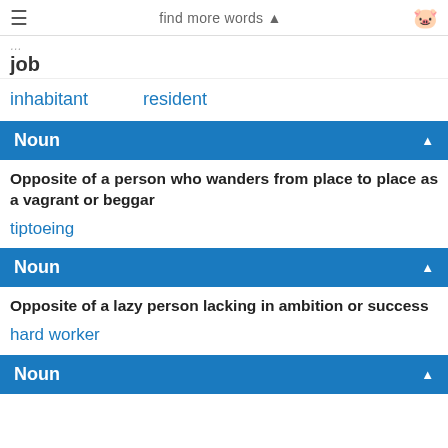find more words ▲
job
inhabitant   resident
Noun
Opposite of a person who wanders from place to place as a vagrant or beggar
tiptoeing
Noun
Opposite of a lazy person lacking in ambition or success
hard worker
Noun